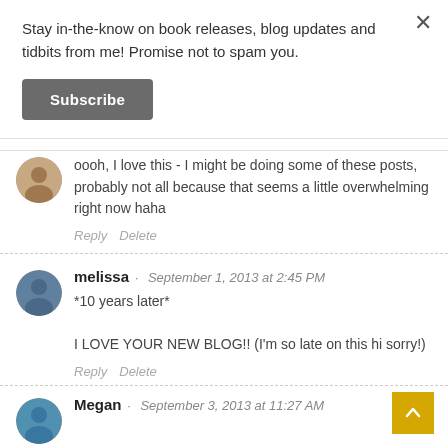Stay in-the-know on book releases, blog updates and tidbits from me! Promise not to spam you.
Subscribe
oooh, I love this - I might be doing some of these posts, probably not all because that seems a little overwhelming right now haha
Reply   Delete
melissa · September 1, 2013 at 2:45 PM
*10 years later*

I LOVE YOUR NEW BLOG!! (I'm so late on this hi sorry!)
Reply   Delete
Megan · September 3, 2013 at 11:27 AM